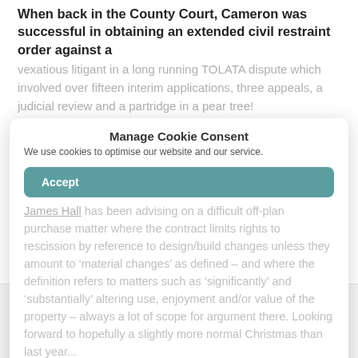When back in the County Court, Cameron was successful in obtaining an extended civil restraint order against a vexatious litigant in a long running TOLATA dispute which involved over fifteen interim applications, three appeals, a judicial review and a partridge in a pear tree!
Manage Cookie Consent
We use cookies to optimise our website and our service.
Accept
James Hall has been advising on a difficult off-plan purchase matter where the contract limits rights to rescission by reference to design/build changes unless they amount to ‘material changes’ as defined – and where the definition refers to matters such as ‘significantly’ and ‘substantially’ altering use, enjoyment and/or value of the property – always a lot of scope for argument there. Looking forward to hopefully a slightly more normal Christmas than last year...
Deny
View preferences
Save preferences
Steven Woolf spent nine consecutive days in Court; three days in the Court of Appeal addressin— the possibility of